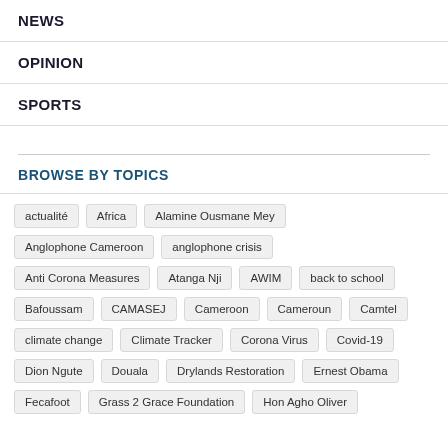NEWS
OPINION
SPORTS
BROWSE BY TOPICS
actualité
Africa
Alamine Ousmane Mey
Anglophone Cameroon
anglophone crisis
Anti Corona Measures
Atanga Nji
AWIM
back to school
Bafoussam
CAMASEJ
Cameroon
Cameroun
Camtel
climate change
Climate Tracker
Corona Virus
Covid-19
Dion Ngute
Douala
Drylands Restoration
Ernest Obama
Fecafoot
Grass 2 Grace Foundation
Hon Agho Oliver